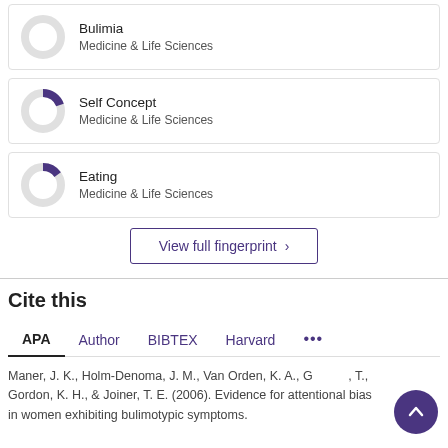[Figure (donut-chart): Partial donut chart showing Bulimia topic fingerprint, Medicine & Life Sciences]
[Figure (donut-chart): Partial donut chart showing Self Concept topic fingerprint, Medicine & Life Sciences]
[Figure (donut-chart): Partial donut chart showing Eating topic fingerprint, Medicine & Life Sciences]
View full fingerprint ›
Cite this
APA  Author  BIBTEX  Harvard  •••
Maner, J. K., Holm-Denoma, J. M., Van Orden, K. A., Gullbois, T., Gordon, K. H., & Joiner, T. E. (2006). Evidence for attentional bias in women exhibiting bulimotypic symptoms.